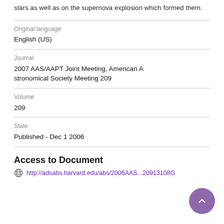stars as well as on the supernova explosion which formed them.
| Original language | English (US) |
| Journal | 2007 AAS/AAPT Joint Meeting, American Astronomical Society Meeting 209 |
| Volume | 209 |
| State | Published - Dec 1 2006 |
Access to Document
http://adsabs.harvard.edu/abs/2006AAS...20913108G